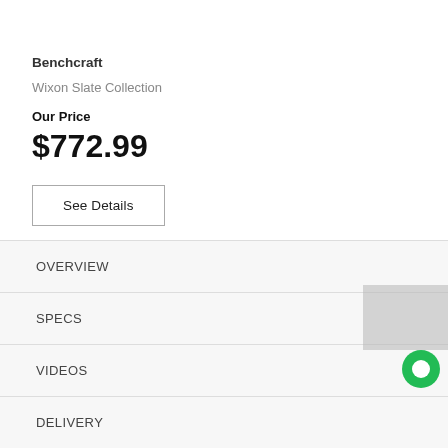Benchcraft
Wixon Slate Collection
Our Price
$772.99
See Details
OVERVIEW
SPECS
VIDEOS
DELIVERY